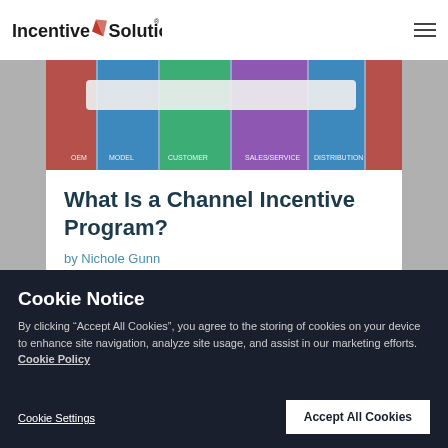[Figure (logo): Incentive Solutions logo with red triangular arrow icon between the two words, and a registered trademark symbol]
[Figure (photo): Hero banner image showing channel/supply chain stages in colorful blocks]
What Is a Channel Incentive Program?
by Nichole Gunn
Cookie Notice
By clicking “Accept All Cookies”, you agree to the storing of cookies on your device to enhance site navigation, analyze site usage, and assist in our marketing efforts.  Cookie Policy
Cookie Settings
Accept All Cookies